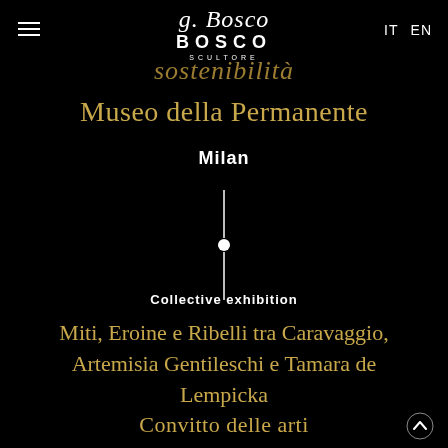G. Bosco Scultore — IT EN
Sostenibilità
Museo della Permanente
Milan
[Figure (other): Vertical timeline with a white dot/circle marker in the center]
Collective exhibition
Miti, Eroine e Ribelli tra Caravaggio, Artemisia Gentileschi e Tamara de Lempicka
Convitto delle arti